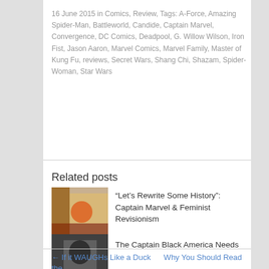16 June 2015 in Comics, Review, Tags: A-Force, Amazing Spider-Man, Battleworld, Candide, Captain Marvel, Convergence, DC Comics, Deadpool, G. Willow Wilson, Iron Fist, Jason Aaron, Marvel Comics, Marvel Family, Master of Kung Fu, reviews, Secret Wars, Shang Chi, Shazam, Spider-Woman, Star Wars
Related posts
“Let’s Rewrite Some History”: Captain Marvel & Feminist Revisionism
[Figure (photo): Thumbnail image for Captain Marvel article showing comic book artwork]
The Captain Black America Needs
[Figure (photo): Thumbnail image for Civil War article showing character in dark costume with Civil War text]
Reviews in Brief (4/13 to 5/4 – 2016)
[Figure (photo): Thumbnail image for Reviews in Brief article showing dark blue toned comic artwork]
← If it WAUGHs Like a Duck    Why You Should Read the